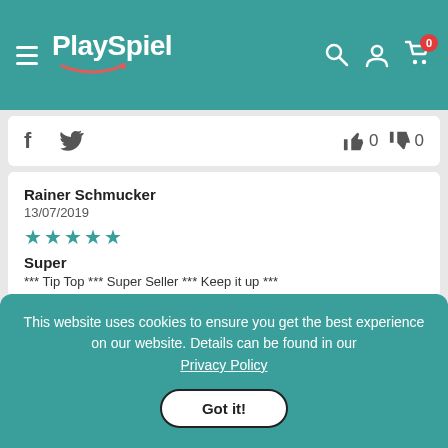PlaySpiel navigation bar
f  Twitter  👍 0  👎 0
Rainer Schmucker
13/07/2019
★★★★★
Super
*** Tip Top *** Super Seller *** Keep it up ***
f  Twitter  👍 0  👎 0
This website uses cookies to ensure you get the best experience on our website. Details can be found in our Privacy Policy
Got it!